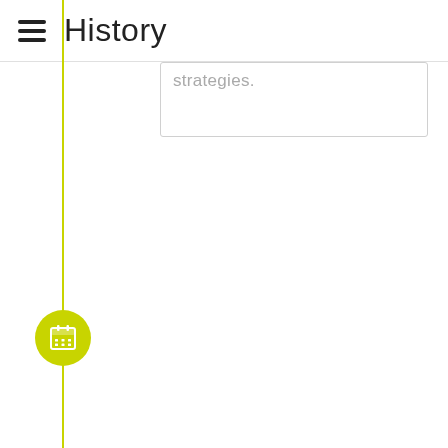History
strategies.
[Figure (infographic): Green vertical timeline line with a calendar icon circle node at the bottom portion of the page]